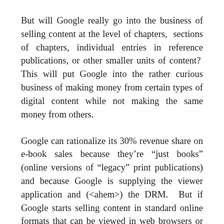But will Google really go into the business of selling content at the level of chapters,  sections of chapters, individual entries in reference publications, or other smaller units of content?  This will put Google into the rather curious business of making money from certain types of digital content while not making the same money from others.
Google can rationalize its 30% revenue share on e-book sales because they're “just books” (online versions of “legacy” print publications) and because Google is supplying the viewer application and (<ahem>) the DRM.  But if Google starts selling content in standard online formats that can be viewed in web browsers or other widely available readers, then it starts to feel different.
Net neutrality begins to come to mind.  Book content will have gone from being unfindable (legally) online